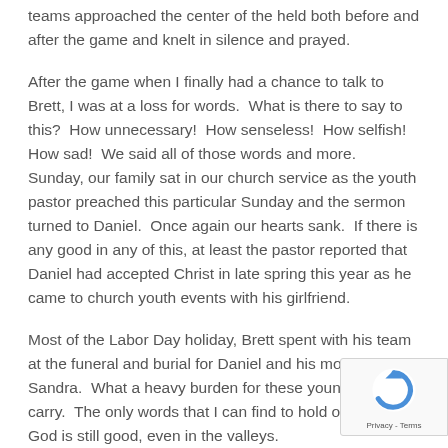teams approached the center of the held both before and after the game and knelt in silence and prayed.
After the game when I finally had a chance to talk to Brett, I was at a loss for words.  What is there to say to this?  How unnecessary!  How senseless!  How selfish!  How sad!  We said all of those words and more.  Sunday, our family sat in our church service as the youth pastor preached this particular Sunday and the sermon turned to Daniel.  Once again our hearts sank.  If there is any good in any of this, at least the pastor reported that Daniel had accepted Christ in late spring this year as he came to church youth events with his girlfriend.
Most of the Labor Day holiday, Brett spent with his team at the funeral and burial for Daniel and his mother, Sandra.  What a heavy burden for these young men to carry.  The only words that I can find to hold onto is that God is still good, even in the valleys.
Blogs are meant to share uplifting, inspirational information